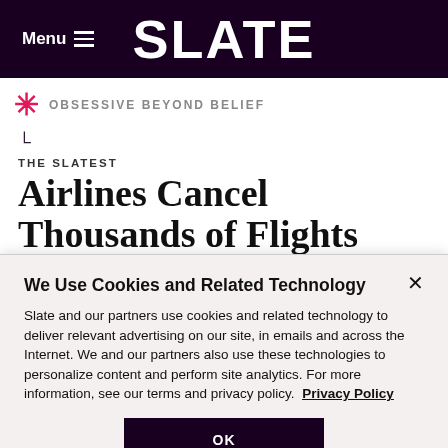Menu  SLATE
OBSESSIVE BEYOND BELIEF
THE SLATEST
Airlines Cancel Thousands of Flights Over Christmas Weekend Amid Omicron
We Use Cookies and Related Technology

Slate and our partners use cookies and related technology to deliver relevant advertising on our site, in emails and across the Internet. We and our partners also use these technologies to personalize content and perform site analytics. For more information, see our terms and privacy policy.  Privacy Policy

OK